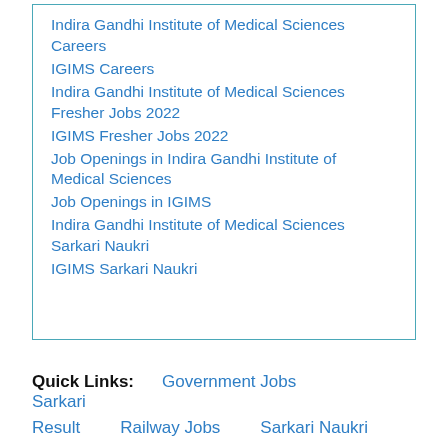Indira Gandhi Institute of Medical Sciences Careers
IGIMS Careers
Indira Gandhi Institute of Medical Sciences Fresher Jobs 2022
IGIMS Fresher Jobs 2022
Job Openings in Indira Gandhi Institute of Medical Sciences
Job Openings in IGIMS
Indira Gandhi Institute of Medical Sciences Sarkari Naukri
IGIMS Sarkari Naukri
Quick Links: Government Jobs  Sarkari Result  Railway Jobs  Sarkari Naukri